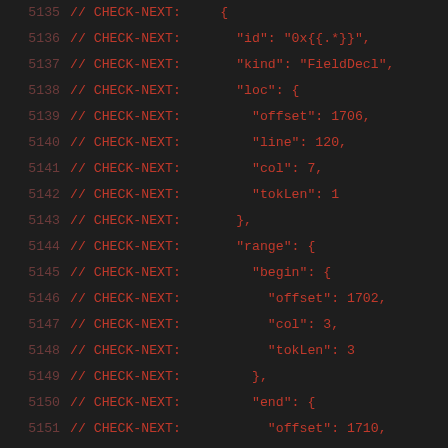5135 // CHECK-NEXT:     {
5136 // CHECK-NEXT:       "id": "0x{{.*}}",
5137 // CHECK-NEXT:       "kind": "FieldDecl",
5138 // CHECK-NEXT:       "loc": {
5139 // CHECK-NEXT:         "offset": 1706,
5140 // CHECK-NEXT:         "line": 120,
5141 // CHECK-NEXT:         "col": 7,
5142 // CHECK-NEXT:         "tokLen": 1
5143 // CHECK-NEXT:       },
5144 // CHECK-NEXT:       "range": {
5145 // CHECK-NEXT:         "begin": {
5146 // CHECK-NEXT:           "offset": 1702,
5147 // CHECK-NEXT:           "col": 3,
5148 // CHECK-NEXT:           "tokLen": 3
5149 // CHECK-NEXT:         },
5150 // CHECK-NEXT:         "end": {
5151 // CHECK-NEXT:           "offset": 1710,
5152 // CHECK-NEXT:           "col": 11,
5153 // CHECK-NEXT:           "tokLen": 2
5154 // CHECK-NEXT:         }
5155 // CHECK-NEXT:       },
5156 // CHECK-NEXT:       "name": "i",